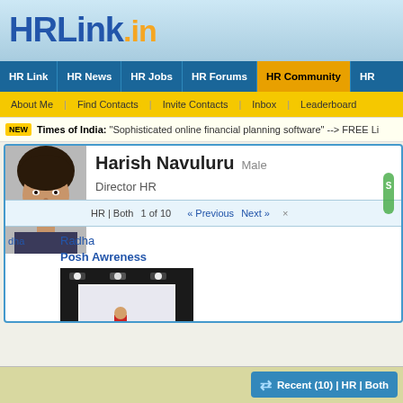HRLink.in
HR Link | HR News | HR Jobs | HR Forums | HR Community | HR
About Me | Find Contacts | Invite Contacts | Inbox | Leaderboard
NEW Times of India: "Sophisticated online financial planning software" --> FREE Li
[Figure (photo): Profile photo of Harish Navuluru, a man with dark hair]
Harish Navuluru Male
Director HR
HR | Both  1 of 10   « Previous   Next »   ×
Radha
dha
Posh Awreness
[Figure (photo): Dark image showing a stage or presentation setup with lights overhead and a person in a red shirt]
Recent (10) | HR | Both